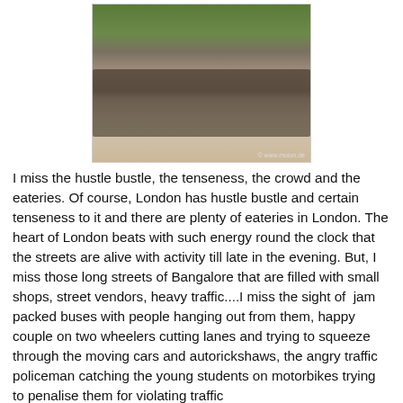[Figure (photo): A dense crowd of motorcyclists and other vehicles at a busy intersection in Bangalore, India. Trees are visible in the background. Watermark reads: © www.molon.de]
I miss the hustle bustle, the tenseness, the crowd and the eateries. Of course, London has hustle bustle and certain tenseness to it and there are plenty of eateries in London. The heart of London beats with such energy round the clock that the streets are alive with activity till late in the evening. But, I miss those long streets of Bangalore that are filled with small shops, street vendors, heavy traffic....I miss the sight of  jam packed buses with people hanging out from them, happy couple on two wheelers cutting lanes and trying to squeeze through the moving cars and autorickshaws, the angry traffic policeman catching the young students on motorbikes trying to penalise them for violating traffic rules, but missing it but not catching them and later trying...